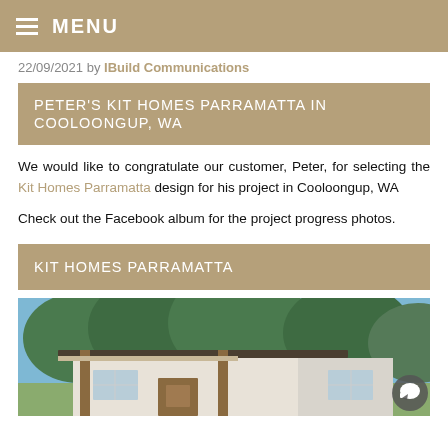MENU
22/09/2021 by IBuild Communications
PETER'S KIT HOMES PARRAMATTA IN COOLOONGUP, WA
We would like to congratulate our customer, Peter, for selecting the Kit Homes Parramatta design for his project in Cooloongup, WA
Check out the Facebook album for the project progress photos.
KIT HOMES PARRAMATTA
[Figure (photo): Exterior photo of a modern kit home with flat roof, timber posts, light-coloured cladding, surrounded by trees with blue sky]